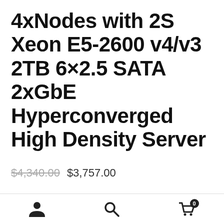4xNodes with 2S Xeon E5-2600 v4/v3 2TB 6×2.5 SATA 2xGbE Hyperconverged High Density Server
$4,340.00  $3,757.00
Out of stock